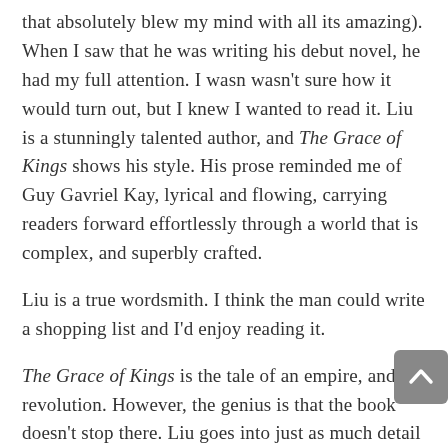that absolutely blew my mind with all its amazing). When I saw that he was writing his debut novel, he had my full attention. I wasn't sure how it would turn out, but I knew I wanted to read it. Liu is a stunningly talented author, and The Grace of Kings shows his style. His prose reminded me of Guy Gavriel Kay, lyrical and flowing, carrying readers forward effortlessly through a world that is complex, and superbly crafted.
Liu is a true wordsmith. I think the man could write a shopping list and I'd enjoy reading it.
The Grace of Kings is the tale of an empire, and a revolution. However, the genius is that the book doesn't stop there. Liu goes into just as much detail about how this group of countries recovers and comes to grips with their world after the revolution. Insert a few gods, and a ton of diverse and intriguing cultures, and plenty of legends that are